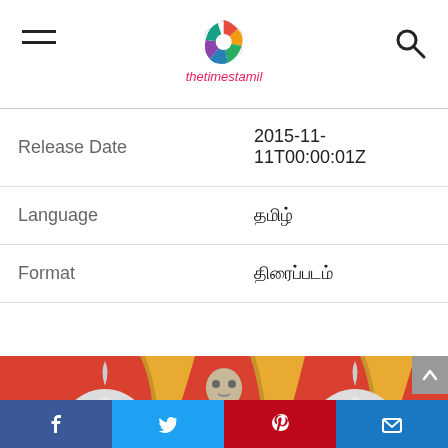thetimestamil
| Release Date | 2015-11-11T00:00:01Z |
| Language | தமிழ் |
| Format | திரைப்படம் |
[Figure (photo): Three performers in white face paint wearing large onion-shaped head pieces in white/grey, on a red background with golden ornate props. The center performer wears a golden/metallic headpiece and a floral patterned outfit, holding a staff with a skull. The other two wear white garments.]
Facebook  Twitter  Pinterest  Email